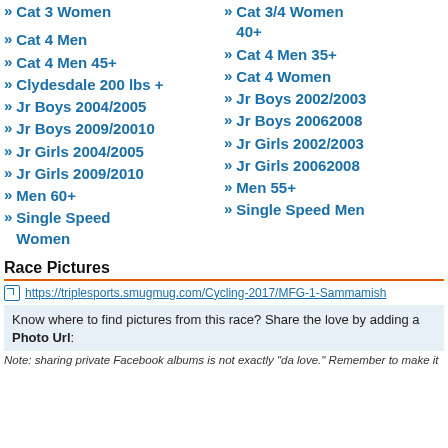» Cat 3 Women
» Cat 3/4 Women 40+
» Cat 4 Men
» Cat 4 Men 35+
» Cat 4 Men 45+
» Cat 4 Women
» Clydesdale 200 lbs +
» Jr Boys 2002/2003
» Jr Boys 2004/2005
» Jr Boys 20062008
» Jr Boys 2009/20010
» Jr Girls 2002/2003
» Jr Girls 2004/2005
» Jr Girls 20062008
» Jr Girls 2009/2010
» Men 55+
» Men 60+
» Single Speed Men
» Single Speed Women
Race Pictures
https://triplesports.smugmug.com/Cycling-2017/MFG-1-Sammamish
Know where to find pictures from this race? Share the love by adding a Photo Url:
Note: sharing private Facebook albums is not exactly "da love." Remember to make it